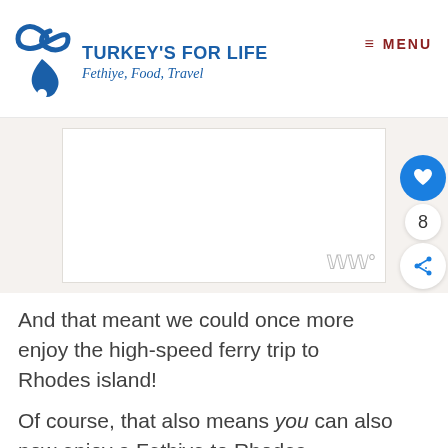TURKEY'S FOR LIFE — Fethiye, Food, Travel — MENU
[Figure (other): Advertisement or image placeholder with watermark 'ww°' in bottom right corner]
And that meant we could once more enjoy the high-speed ferry trip to Rhodes island!
Of course, that also means you can also now enjoy a Fethiye to Rhodes day trip – and make it a longer stay.